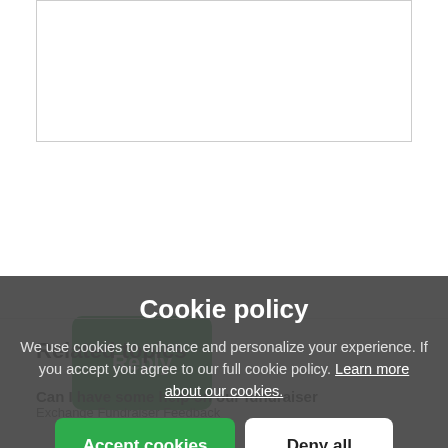[Figure (screenshot): Text input box (reply field)]
Reply
Related topics
Can I have some help on our fundraiser
Exchange Fundraiser Feedback
I need help getting started
Getting Started
My grandpa's fu...
Coffee Talk
Looking for advice on how to raise funds for friends who need assistance with expenses
Cookie policy
We use cookies to enhance and personalize your experience. If you accept you agree to our full cookie policy. Learn more about our cookies.
Accept cookies
Deny all
Cookie settings